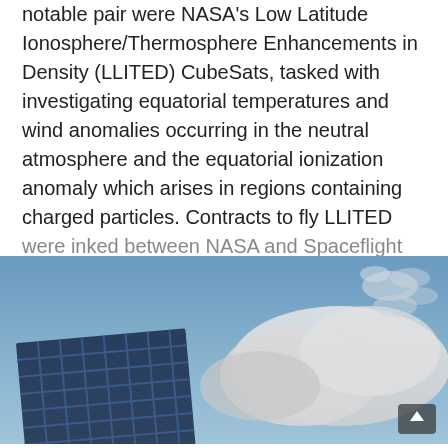notable pair were NASA's Low Latitude Ionosphere/Thermosphere Enhancements in Density (LLITED) CubeSats, tasked with investigating equatorial temperatures and wind anomalies occurring in the neutral atmosphere and the equatorial ionization anomaly which arises in regions containing charged particles. Contracts to fly LLITED were inked between NASA and Spaceflight last March and it is expected that the payload will fly an upcoming mission.
[Figure (photo): A photograph showing a rocket launch or spacecraft in flight, with a grid-like solar panel visible on the lower left and a cloud formation against a blue sky. A small scroll-to-top button appears in the lower right corner.]